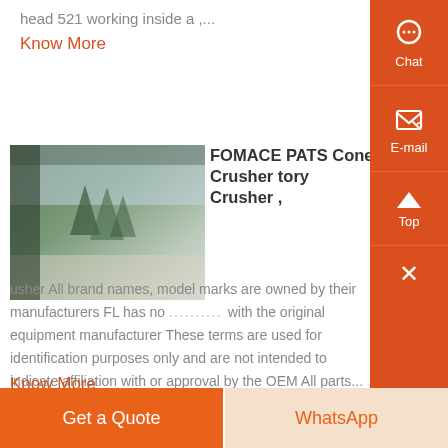head 521 working inside a ,...
Know More
[Figure (photo): Outdoor machinery/crusher scene with trees in background, greenish tones]
FOMACE PATS Cone Crusher tory Crusher ,
usher All brand names, model marks are owned by their manufacturers FL has no .......... with the original equipment manufacturer These terms are used for identification purposes only and are not intended to indicate affiliation with or approval by the OEM All parts...
Know More
Chat
E-mail
Top
Get a Quote
WhatsApp